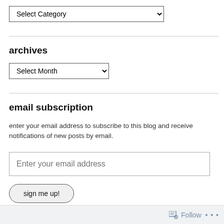[Figure (screenshot): A dropdown select box labeled 'Select Category' with a down arrow chevron on the right side]
archives
[Figure (screenshot): A dropdown select box labeled 'Select Month' with a down arrow chevron on the right side]
email subscription
enter your email address to subscribe to this blog and receive notifications of new posts by email.
[Figure (screenshot): An email input field with placeholder text 'Enter your email address']
[Figure (screenshot): A rounded button labeled 'sign me up!']
Join 1,902 other followers
Follow ...